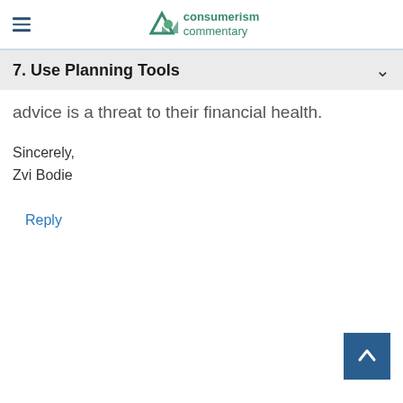consumerism commentary
7. Use Planning Tools
advice is a threat to their financial health.
Sincerely,
Zvi Bodie
Reply